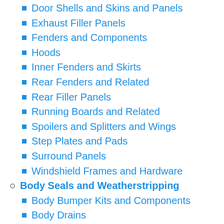Door Shells and Skins and Panels
Exhaust Filler Panels
Fenders and Components
Hoods
Inner Fenders and Skirts
Rear Fenders and Related
Rear Filler Panels
Running Boards and Related
Spoilers and Splitters and Wings
Step Plates and Pads
Surround Panels
Windshield Frames and Hardware
Body Seals and Weatherstripping
Body Bumper Kits and Components
Body Drains
Body Gaskets and Seals and Plugs
Body Panel Seals
Bumper Impact Strips and Fillers
Convertible Top Weatherstrips